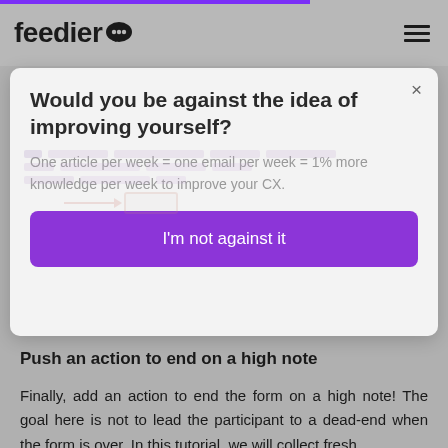feedier
[Figure (screenshot): Modal popup with title 'Would you be against the idea of improving yourself?', subtitle text 'One article per week = one email per week = 1% more knowledge per week to improve your CX.', close button X, and a purple CTA button 'I'm not against it']
Push an action to end on a high note
Finally, add an action to end the form on a high note! The goal here is not to lead the participant to a dead-end when the form is over. In this tutorial, we will collect fresh